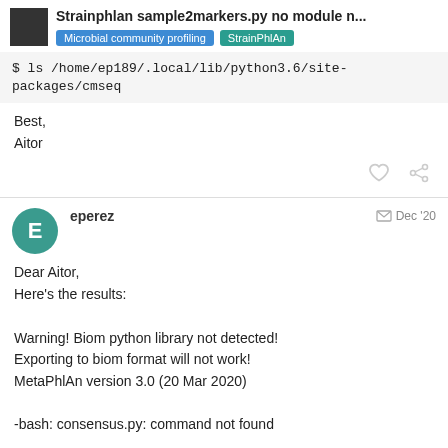Strainphlan sample2markers.py no module n...
Microbial community profiling   StrainPhlAn
$ ls /home/ep189/.local/lib/python3.6/site-packages/cmseq
Best,
Aitor
eperez   Dec '20
Dear Aitor,
Here's the results:

Warning! Biom python library not detected!
Exporting to biom format will not work!
MetaPhlAn version 3.0 (20 Mar 2020)

-bash: consensus.py: command not found